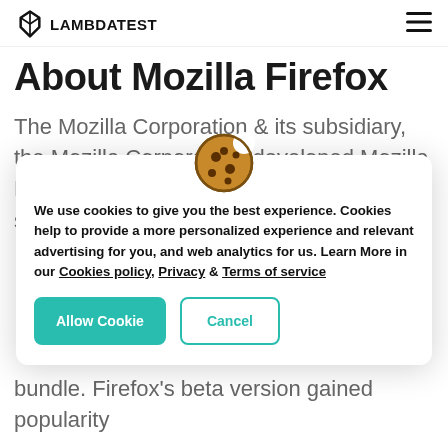LAMBDATEST
About Mozilla Firefox
The Mozilla Corporation & its subsidiary, the Mozilla Corporation, developed Mozilla Firefox, or simply Firefox, a free and open-source web
[Figure (screenshot): Cookie consent popup dialog with cookie emoji icon, consent text reading 'We use cookies to give you the best experience. Cookies help to provide a more personalized experience and relevant advertising for you, and web analytics for us. Learn More in our Cookies policy, Privacy & Terms of service', and two buttons: 'Allow Cookie' (teal filled) and 'Cancel' (teal outline).]
bundle. Firefox's beta version gained popularity